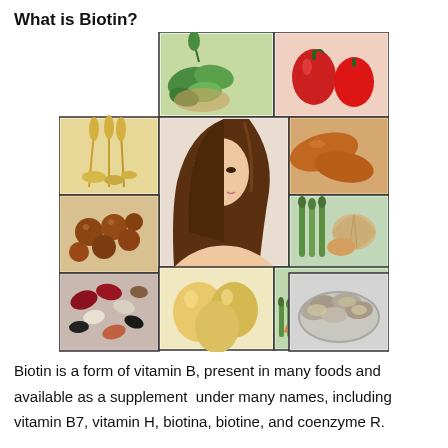What is Biotin?
[Figure (illustration): A cross-shaped collage of food images (leafy greens, red peppers, grains/wheat, nuts, beans/legumes, sweet potatoes, asparagus with seafood, oysters, eggs, salmon) surrounding a central image of a woman with long healthy brown hair, illustrating sources of Biotin.]
Biotin is a form of vitamin B, present in many foods and available as a supplement  under many names, including vitamin B7, vitamin H, biotina, biotine, and coenzyme R.